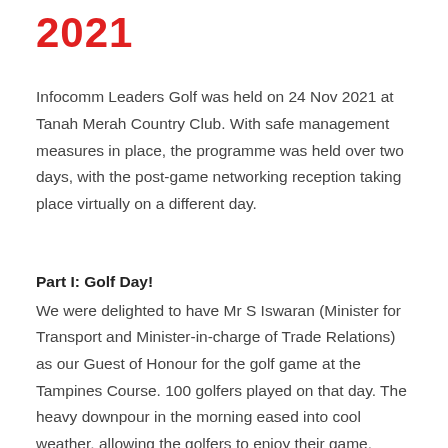2021
Infocomm Leaders Golf was held on 24 Nov 2021 at Tanah Merah Country Club. With safe management measures in place, the programme was held over two days, with the post-game networking reception taking place virtually on a different day.
Part I: Golf Day!
We were delighted to have Mr S Iswaran (Minister for Transport and Minister-in-charge of Trade Relations) as our Guest of Honour for the golf game at the Tampines Course. 100 golfers played on that day. The heavy downpour in the morning eased into cool weather, allowing the golfers to enjoy their game. Some even remarked that it felt like they were playing